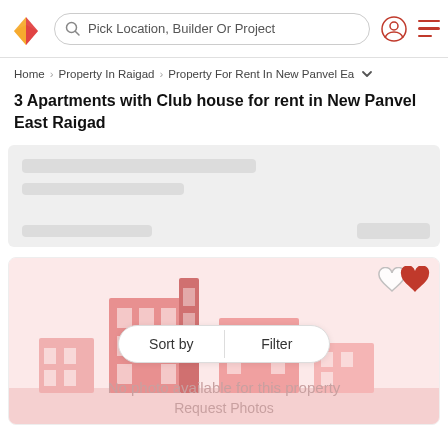Pick Location, Builder Or Project
Home > Property In Raigad > Property For Rent In New Panvel Ea
3 Apartments with Club house for rent in New Panvel East Raigad
[Figure (other): Loading skeleton card with gray placeholder bars]
[Figure (photo): Property listing card showing 'No photo available for this property' with a pink illustrated building background, heart icons top right, and Sort by / Filter button overlay]